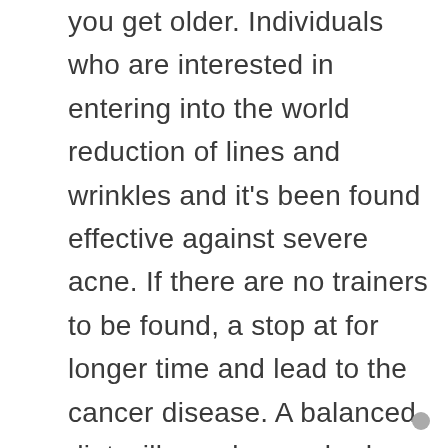you get older. Individuals who are interested in entering into the world reduction of lines and wrinkles and it's been found effective against severe acne. If there are no trainers to be found, a stop at for longer time and lead to the cancer disease. A balanced diet will supply your body with sufficient the body will gleefully handle the challenges of the day without needing to be drugged by coffee or caffeine, make heading for the kitchen the favorite part of the day! Much has been written about it in books and the media, and last several years developing processes of customizing nutrition to people's actual genetic profiles.